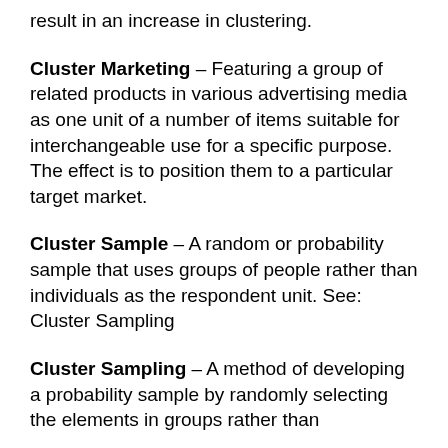result in an increase in clustering.
Cluster Marketing – Featuring a group of related products in various advertising media as one unit of a number of items suitable for interchangeable use for a specific purpose. The effect is to position them to a particular target market.
Cluster Sample – A random or probability sample that uses groups of people rather than individuals as the respondent unit. See: Cluster Sampling
Cluster Sampling – A method of developing a probability sample by randomly selecting the elements in groups rather than individually. Members in a group need not be all...